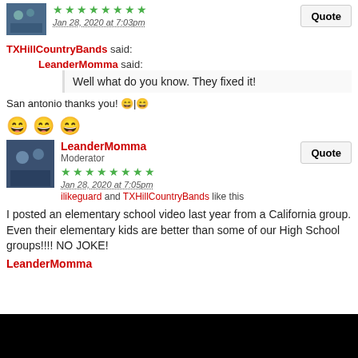[Figure (photo): User avatar thumbnail at top]
Jan 28, 2020 at 7:03pm
TXHillCountryBands said:
LeanderMomma said:
Well what do you know. They fixed it!
San antonio thanks you! 😄|😄
😄 😄 😄
LeanderMomma
Moderator
Jan 28, 2020 at 7:05pm
ilikeguard and TXHillCountryBands like this
I posted an elementary school video last year from a California group. Even their elementary kids are better than some of our High School groups!!!! NO JOKE!
LeanderMomma